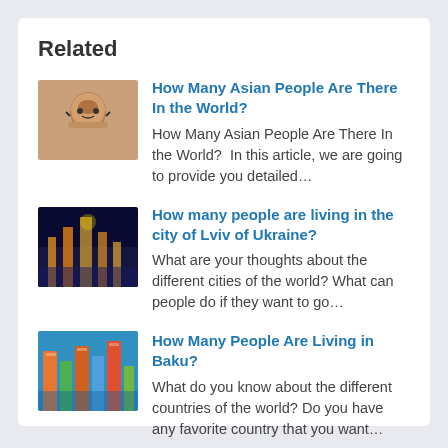Related
[Figure (photo): Thumbnail photo of a person making a gesture, related to Asian people article]
How Many Asian People Are There In the World?
How Many Asian People Are There In the World?  In this article, we are going to provide you detailed…
[Figure (photo): Aerial night photo of Lviv city with lights]
How many people are living in the city of Lviv of Ukraine?
What are your thoughts about the different cities of the world? What can people do if they want to go…
[Figure (photo): Colorful urban photo of Baku city buildings]
How Many People Are Living in Baku?
What do you know about the different countries of the world? Do you have any favorite country that you want…